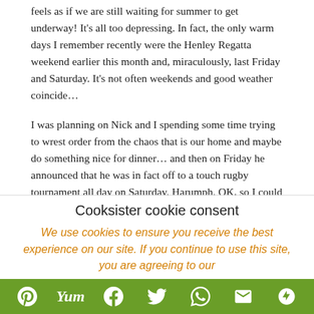feels as if we are still waiting for summer to get underway!  It's all too depressing.  In fact, the only warm days I remember recently were the Henley Regatta weekend earlier this month and, miraculously, last Friday and Saturday.  It's not often weekends and good weather coincide…
I was planning on Nick and I spending some time trying to wrest order from the chaos that is our home and maybe do something nice for dinner… and then on Friday he announced that he was in fact off to a touch rugby tournament all day on Saturday.  Harumph.  OK, so I could have soldiered on like a martyr, doing all the chores while he kicked odd-shaped balls around, but that simply would not be my style 😉  Instead, I threw open the garden door, pottered around with my plants a bit and then spread the picnic rug on the grass and lay down...
Cooksister cookie consent
We use cookies to ensure you receive the best experience on our site.  If you continue to use this site, you are agreeing to our
[Figure (infographic): Social share bar with icons: Pinterest, Yum, Facebook, Twitter, WhatsApp, Email, More]